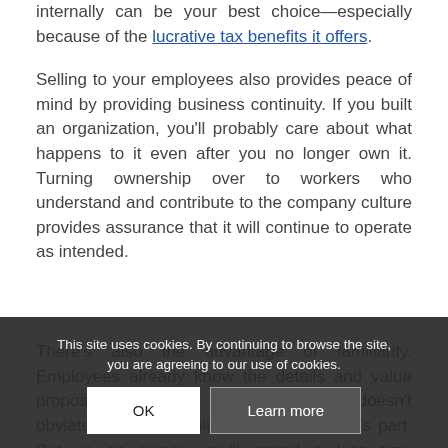internally can be your best choice—especially because of the lucrative tax benefits it offers.
Selling to your employees also provides peace of mind by providing business continuity. If you built an organization, you'll probably care about what happens to it even after you no longer own it. Turning ownership over to workers who understand and contribute to the company culture provides assurance that it will continue to operate as intended.
There's also the advantage of familiarity. Employees already know the details and value propositions of what they're buying. It doesn't obviate proper due diligence on everyone's part. But as an owner, you'll spend a less time identifying and attempting to sell your company
This site uses cookies. By continuing to browse the site, you are agreeing to our use of cookies.